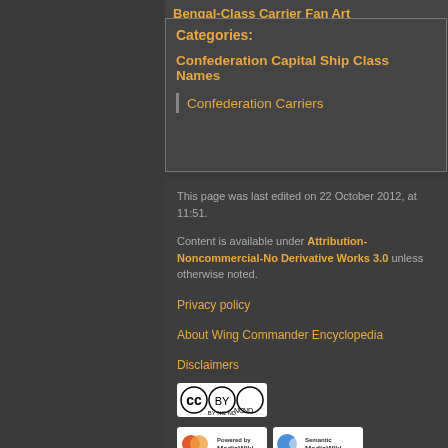Bengal-Class Carrier Fan Art
Categories:
Confederation Capital Ship Class Names
Confederation Carriers
This page was last edited on 22 October 2012, at 11:51.
Content is available under Attribution-Noncommercial-No Derivative Works 3.0 unless otherwise noted.
Privacy policy
About Wing Commander Encyclopedia
Disclaimers
[Figure (logo): Creative Commons Attribution-Noncommercial-No Derivative Works license badge]
[Figure (logo): Powered by MediaWiki badge]
[Figure (logo): Semantic MediaWiki badge]